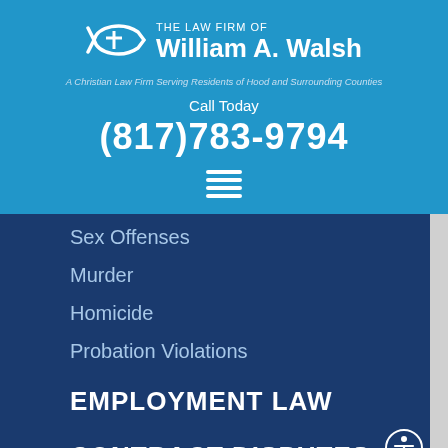[Figure (logo): The Law Firm of William A. Walsh logo with Christian fish symbol and tagline 'A Christian Law Firm Serving Residents of Hood and Surrounding Counties']
Call Today
(817)783-9794
[Figure (other): Hamburger menu icon (three horizontal lines)]
Sex Offenses
Murder
Homicide
Probation Violations
EMPLOYMENT LAW
CONTRACT DISPUTES